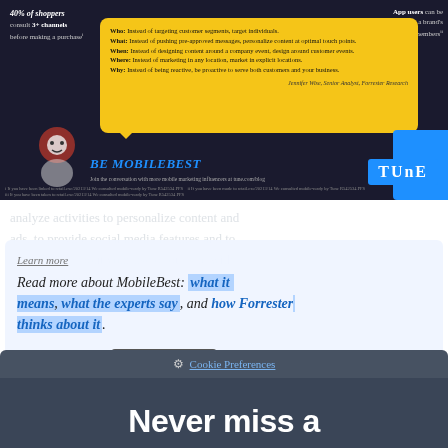[Figure (infographic): MobileBest infographic on dark background showing shopping statistics, a yellow speech bubble with Forrester Research quote about personalization, BE MOBILEBEST logo, and TUNE logo]
40% of shoppers consult 3+ channels before making a purchase
App users can be worth twice a brand's loyalty club members
Who: Instead of targeting customer segments, target individuals. What: Instead of pushing pre-approved messages, personalize content at optimal touch points. When: Instead of designing content around a company event, design around customer events. Where: Instead of marketing in any location, market in explicit locations. Why: Instead of being reactive, be proactive to serve both customers and your business.
Jennifer Wise, Senior Analyst, Forrester Research
BE MOBILEBEST
Learn more
Read more about MobileBest: what it means, what the experts say, and how Forrester thinks about it.
Allow Cookies
Reject Cookies
Cookie Preferences
Never miss a